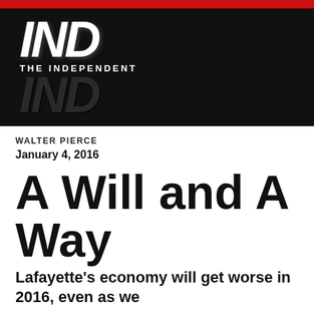[Figure (logo): The Independent newspaper logo — bold italic 'IND' letters in white on black background with 'THE INDEPENDENT' tagline]
WALTER PIERCE
January 4, 2016
A Will and A Way
Lafayette's economy will get worse in 2016, even as we